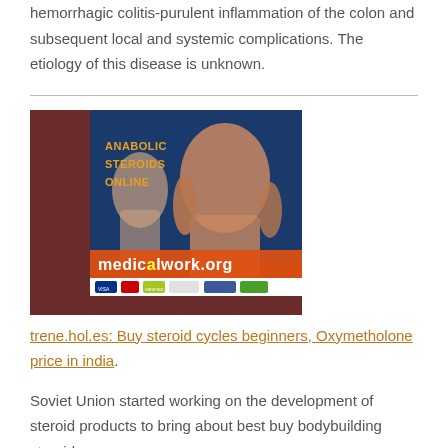hemorrhagic colitis-purulent inflammation of the colon and subsequent local and systemic complications. The etiology of this disease is unknown.
[Figure (photo): Advertisement image for medicalwork.org showing bodybuilders with text 'ANABOLIC STEROIDS ONLINE' and the website URL medicalwork.org with payment method icons at the bottom.]
trene.hol.es: Buy steroid cycles beginners, Oxymetholone price in india
Soviet Union started working on the development of steroid products to bring about best buy bodybuilding steroids